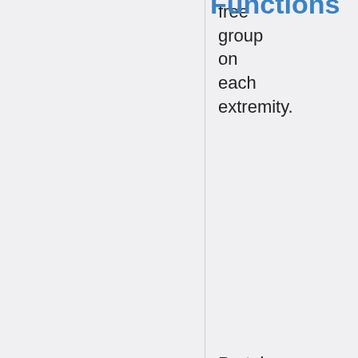free group on each extremity.
Functions
Proteins are involved in practically every function performed